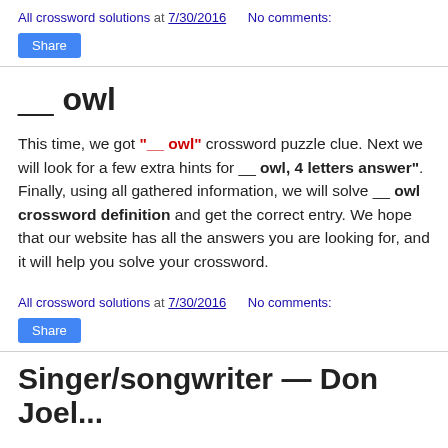All crossword solutions at 7/30/2016   No comments:
Share
__ owl
This time, we got "__ owl" crossword puzzle clue. Next we will look for a few extra hints for __ owl, 4 letters answer". Finally, using all gathered information, we will solve __ owl crossword definition and get the correct entry. We hope that our website has all the answers you are looking for, and it will help you solve your crossword.
All crossword solutions at 7/30/2016   No comments:
Share
Singer/songwriter — Don Joel...